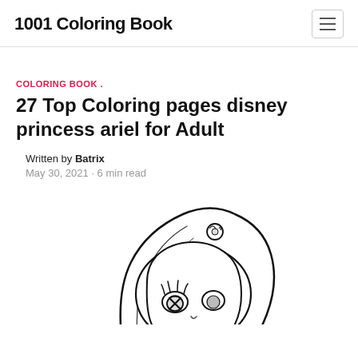1001 Coloring Book
COLORING BOOK .
27 Top Coloring pages disney princess ariel for Adult
Written by Batrix
May 30, 2021 · 6 min read
[Figure (illustration): Line art illustration of Disney princess Ariel (The Little Mermaid), showing her head and hair from above, with cartoonish eyes and a flower/accessory in her hair. Black and white coloring book style.]